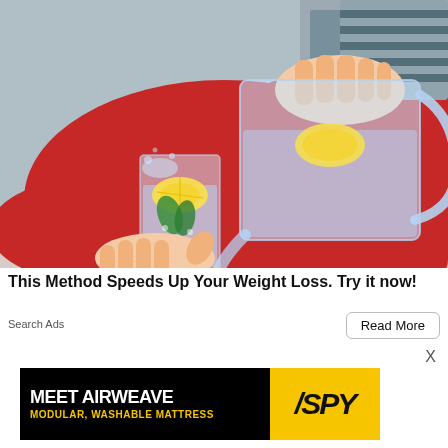[Figure (photo): Woman in red sweater pouring lemon-infused water from a glass pitcher into a glass with lemon slices and mint, on a wooden table with a blurred indoor background.]
This Method Speeds Up Your Weight Loss. Try it now!
Search Ads
Read More
X
[Figure (advertisement): Black background ad banner for Meet Airweave Modular, Washable Mattress with yellow SPY logo on the right side. A small X close button appears in the top right corner of the banner.]